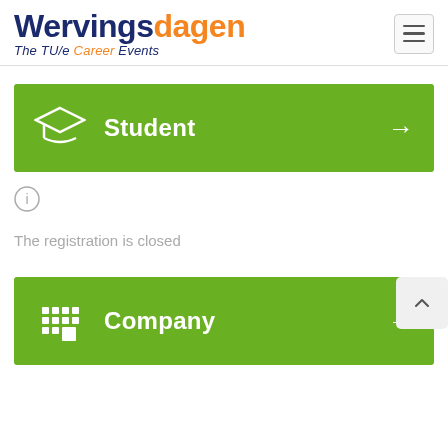[Figure (logo): Wervingsdagen logo with text 'The TU/e Career Events']
[Figure (infographic): Green button block with graduation cap icon and text 'Student' and right arrow]
[Figure (other): Info circle icon]
The registration is closed
[Figure (infographic): Green button block with building/company icon and text 'Company' and right arrow]